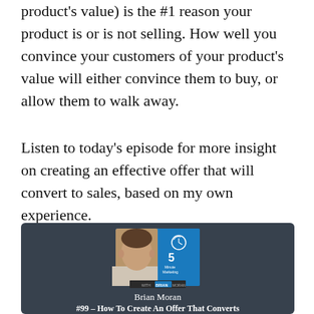product's value) is the #1 reason your product is or is not selling. How well you convince your customers of your product's value will either convince them to buy, or allow them to walk away.
Listen to today's episode for more insight on creating an effective offer that will convert to sales, based on my own experience.
[Figure (screenshot): Podcast card with dark background showing Brian Moran's '5 Minute Marketing' podcast thumbnail. A man's headshot on the left, blue background with '5 Minute Marketing' logo on right. Text below reads 'Brian Moran' and '#99 – How To Create An Offer That Converts' partially visible.]